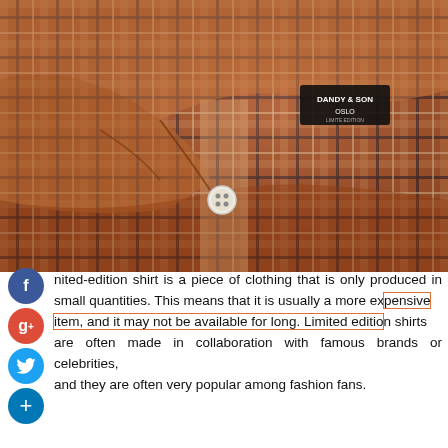[Figure (photo): Close-up photo of a brown and cream plaid flannel shirt collar with a white button and a Dandy & Son Oslo brand label visible at the collar.]
nited-edition shirt is a piece of clothing that is only produced in small quantities. This means that it is usually a more expensive item, and it may not be available for long. Limited edition shirts are often made in collaboration with famous brands or celebrities, and they are often very popular among fashion fans.